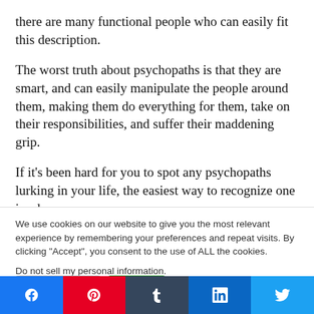there are many functional people who can easily fit this description.
The worst truth about psychopaths is that they are smart, and can easily manipulate the people around them, making them do everything for them, take on their responsibilities, and suffer their maddening grip.
If it’s been hard for you to spot any psychopaths lurking in your life, the easiest way to recognize one is when you
We use cookies on our website to give you the most relevant experience by remembering your preferences and repeat visits. By clicking “Accept”, you consent to the use of ALL the cookies.
Do not sell my personal information.